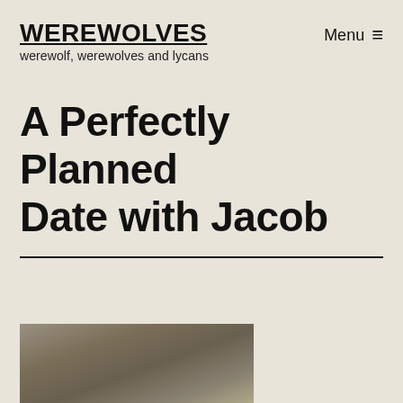WEREWOLVES
werewolf, werewolves and lycans
A Perfectly Planned Date with Jacob
[Figure (photo): Partial view of a young man outdoors near a tree, photo partially visible at bottom of page]